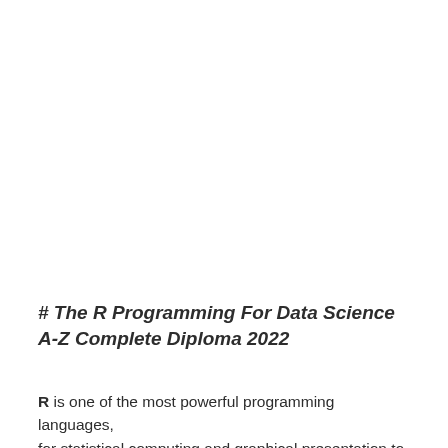# The R Programming For Data Science A-Z Complete Diploma 2022
R is one of the most powerful programming languages, for statistical computing and graphical presentation to